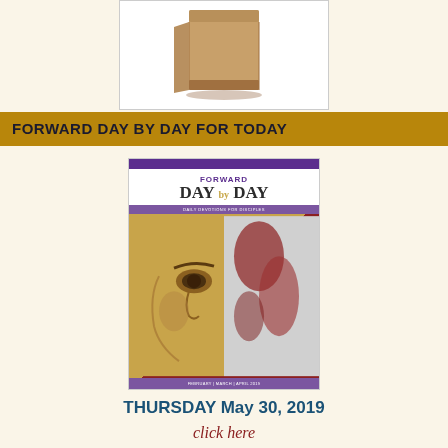[Figure (photo): A brown paper bag photographed against a white background, showing a flat-bottomed grocery/kraft paper bag.]
FORWARD DAY BY DAY FOR TODAY
[Figure (photo): Cover of 'Forward Day by Day' devotional magazine for February, March, April 2019. Features a close-up artwork of a face split between a golden painted style on the left and abstract red/grey on the right. Purple header bar at top and bottom with title text.]
THURSDAY May 30, 2019
click here